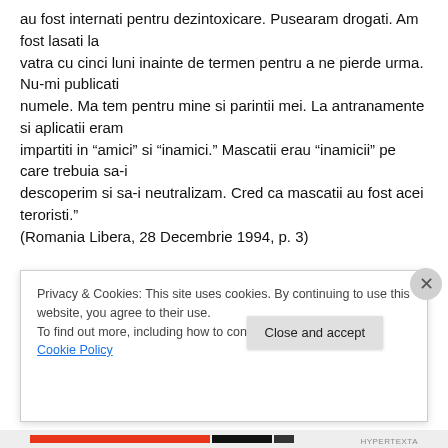au fost internati pentru dezintoxicare. Pusearam drogati. Am fost lasati la vatra cu cinci luni inainte de termen pentru a ne pierde urma. Nu-mi publicati numele. Ma tem pentru mine si parintii mei. La antranamente si aplicatii eram impartiti in “amici” si “inamici.” Mascatii erau “inamicii” pe care trebuia sa-i descoperim si sa-i neutralizam. Cred ca mascatii au fost acei teroristi.”
(Romania Libera, 28 Decembrie 1994, p. 3)
Privacy & Cookies: This site uses cookies. By continuing to use this website, you agree to their use.
To find out more, including how to control cookies, see here: Cookie Policy